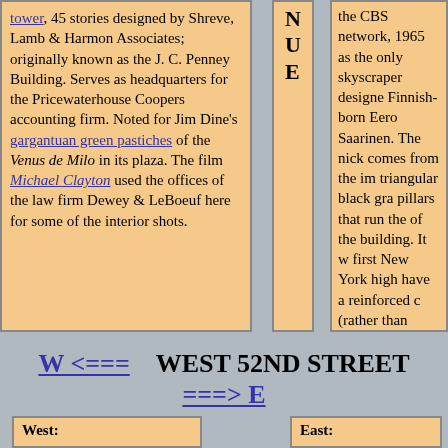tower, 45 stories designed by Shreve, Lamb & Harmon Associates; originally known as the J. C. Penney Building. Serves as headquarters for the Pricewaterhouse Coopers accounting firm. Noted for Jim Dine's gargantuan green pastiches of the Venus de Milo in its plaza. The film Michael Clayton used the offices of the law firm Dewey & LeBoeuf here for some of the interior shots.
N U E
the CBS network, 1965 as the only skyscraper designed Finnish-born Eero Saarinen. The nick comes from the im triangular black gra pillars that run the of the building. It w first New York high have a reinforced c (rather than steel) f
W <===   WEST 52ND STREET ===> E
West:
East: